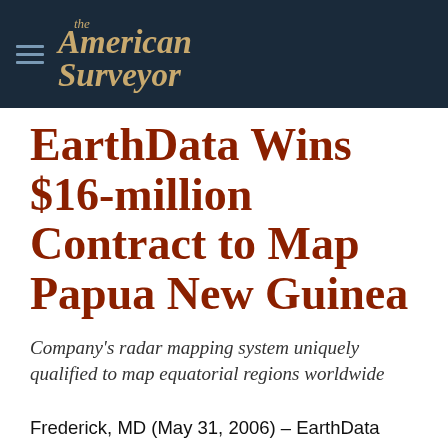the American Surveyor
EarthData Wins $16-million Contract to Map Papua New Guinea
Company's radar mapping system uniquely qualified to map equatorial regions worldwide
Frederick, MD (May 31, 2006) – EarthData International (EarthData) today announced the award of a $16 million contract by the Government of the Commonwealth of Australia to produce the first-ever high-resolution image and terrain maps of Papua New Guinea. The